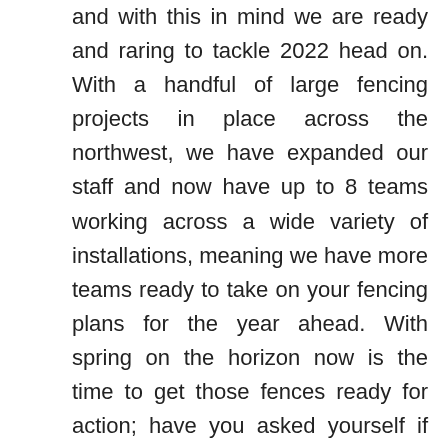and with this in mind we are ready and raring to tackle 2022 head on. With a handful of large fencing projects in place across the northwest, we have expanded our staff and now have up to 8 teams working across a wide variety of installations, meaning we have more teams ready to take on your fencing plans for the year ahead. With spring on the horizon now is the time to get those fences ready for action; have you asked yourself if your fence is spring ready? As we head into spring it is vital you check your livestock and equine fencing for any signs of natural wear and tear. Often across the winter months grass levels are so much lower which causes horses to chew, rub or push against fences more as they have less to eat. With livestock turnout season ahead the best quality fencing is necessary to keep those